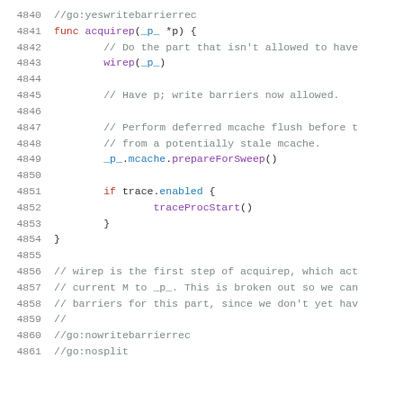Code listing showing Go runtime source code lines 4840-4861, including acquirep function and associated comments about wirep, mcache, trace, and write barriers.